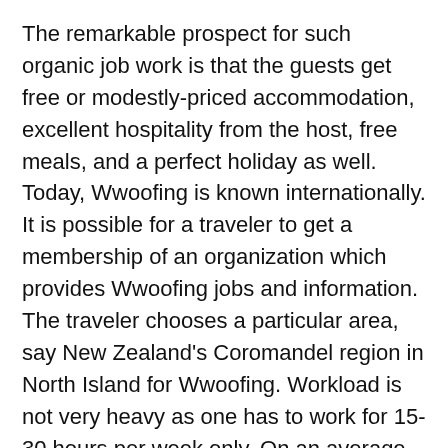The remarkable prospect for such organic job work is that the guests get free or modestly-priced accommodation, excellent hospitality from the host, free meals, and a perfect holiday as well. Today, Wwoofing is known internationally. It is possible for a traveler to get a membership of an organization which provides Wwoofing jobs and information. The traveler chooses a particular area, say New Zealand's Coromandel region in North Island for Wwoofing. Workload is not very heavy as one has to work for 15-30 hours per week only. On an average, person may have to work for 4 hours per day.
Job Profile in a Wwoof Group
Wwoof enthusiasts get a call from the host – a farmer or the owner of a farmhouse – where he or she specifies the need for a Wwoof volunteer. The workplace is bucolic no doubt but tasks could range from milking a cow to sustainable farming and permaculture, weeding, or sorting fruits. Those having little more experience in carpentry or animal care